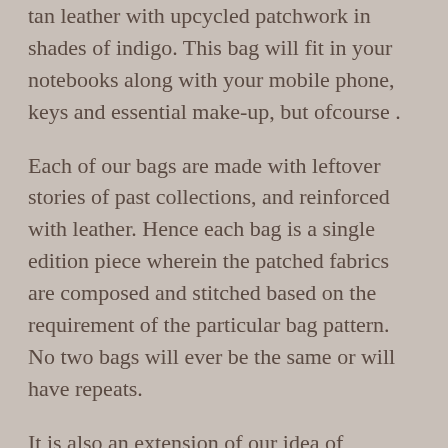tan leather with upcycled patchwork in shades of indigo. This bag will fit in your notebooks along with your mobile phone, keys and essential make-up, but ofcourse .
Each of our bags are made with leftover stories of past collections, and reinforced with leather. Hence each bag is a single edition piece wherein the patched fabrics are composed and stitched based on the requirement of the particular bag pattern. No two bags will ever be the same or will have repeats.
It is also an extension of our idea of sustainability. Every product/ fabric in this case, should have a lifetime much beyond its limited scope as mere items of "fashion trends". We believe in making items that become classics in your wardrobe and stand the test of